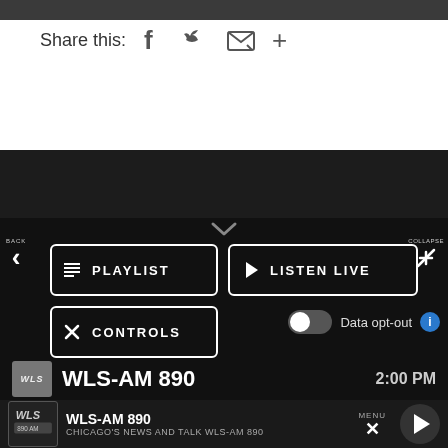[Figure (screenshot): Dark top bar/image placeholder at the top of the page]
Share this:
[Figure (infographic): Social share buttons: Facebook, Twitter, email, plus icons]
[Figure (screenshot): Radio player UI with dark background showing PLAYLIST, LISTEN LIVE, CONTROLS buttons, a data opt-out toggle, an ad placeholder, WLS-AM 890 now playing bar showing 2:00 PM, and a bottom sticky player bar for WLS-AM 890 CHICAGO'S NEWS AND TALK WLS-AM 890 with MENU and play button]